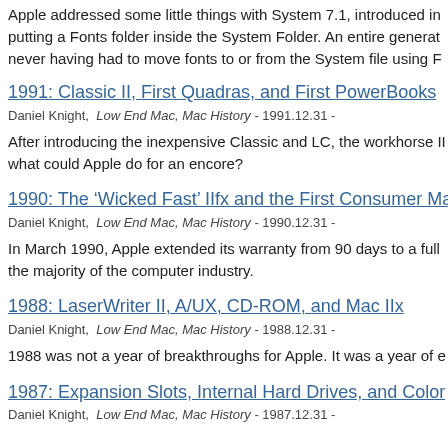Apple addressed some little things with System 7.1, introduced in putting a Fonts folder inside the System Folder. An entire generat never having had to move fonts to or from the System file using F
1991: Classic II, First Quadras, and First PowerBooks
Daniel Knight,  Low End Mac, Mac History - 1991.12.31 -
After introducing the inexpensive Classic and LC, the workhorse II what could Apple do for an encore?
1990: The ‘Wicked Fast’ IIfx and the First Consumer Macs
Daniel Knight,  Low End Mac, Mac History - 1990.12.31 -
In March 1990, Apple extended its warranty from 90 days to a full the majority of the computer industry.
1988: LaserWriter II, A/UX, CD-ROM, and Mac IIx
Daniel Knight,  Low End Mac, Mac History - 1988.12.31 -
1988 was not a year of breakthroughs for Apple. It was a year of e
1987: Expansion Slots, Internal Hard Drives, and Color
Daniel Knight,  Low End Mac, Mac History - 1987.12.31 -